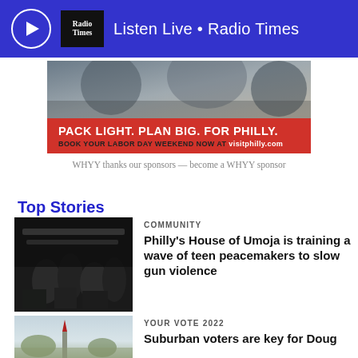Listen Live • Radio Times
[Figure (other): Advertisement banner for visitphilly.com: PACK LIGHT. PLAN BIG. FOR PHILLY. BOOK YOUR LABOR DAY WEEKEND NOW AT visitphilly.com]
WHYY thanks our sponsors — become a WHYY sponsor
Top Stories
[Figure (photo): People in black t-shirts standing in a group, indoor event setting]
COMMUNITY
Philly's House of Umoja is training a wave of teen peacemakers to slow gun violence
[Figure (photo): Outdoor scene with sky, trees, and a flag]
YOUR VOTE 2022
Suburban voters are key for Doug